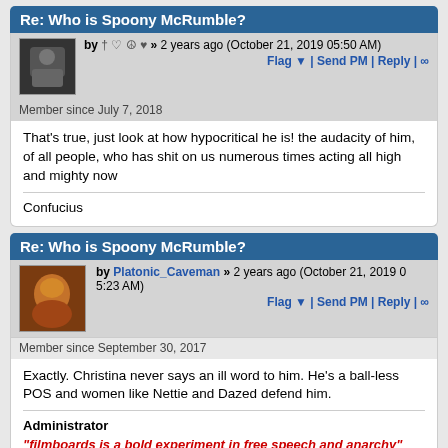Re: Who is Spoony McRumble?
by † ♡ ☮ ♥ » 2 years ago (October 21, 2019 05:50 AM)
Flag ▼ | Send PM | Reply | ∞
Member since July 7, 2018
That's true, just look at how hypocritical he is! the audacity of him, of all people, who has shit on us numerous times acting all high and mighty now
Confucius
Re: Who is Spoony McRumble?
by Platonic_Caveman » 2 years ago (October 21, 2019 0 5:23 AM)
Flag ▼ | Send PM | Reply | ∞
Member since September 30, 2017
Exactly. Christina never says an ill word to him. He's a ball-less POS and women like Nettie and Dazed defend him.
Administrator
"filmboards is a bold experiment in free speech and anarchy"
I GameBoy
1  2  3  ▲ Top